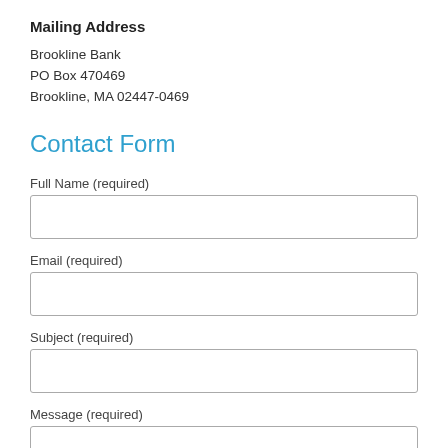Mailing Address
Brookline Bank
PO Box 470469
Brookline, MA 02447-0469
Contact Form
Full Name (required)
Email (required)
Subject (required)
Message (required)